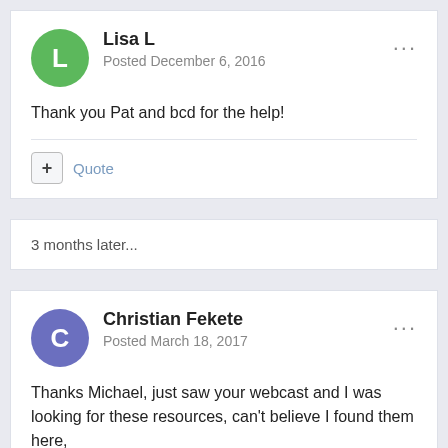Lisa L
Posted December 6, 2016
Thank you Pat and bcd for the help!
+ Quote
3 months later...
Christian Fekete
Posted March 18, 2017
Thanks Michael, just saw your webcast and I was looking for these resources, can't believe I found them here, Thanks again, great help